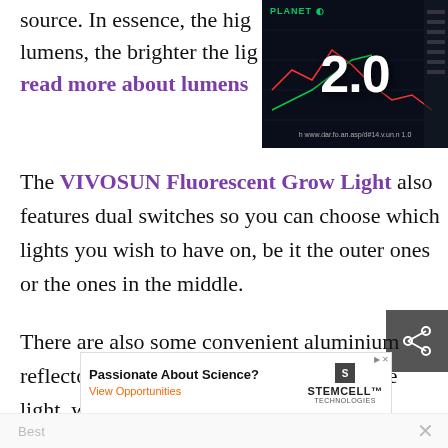source. In essence, the high lumens, the brighter the lig read more about lumens
[Figure (screenshot): Video thumbnail showing a trading chart screen with the number 2.0 in large white text, dark background with green/red candlestick chart, Planet label at top left]
The VIVOSUN Fluorescent Grow Light also features dual switches so you can choose which lights you wish to have on, be it the outer ones or the ones in the middle.
There are also some convenient aluminium reflectors to provide your plants with more light, which is useful.
[Figure (screenshot): Advertisement banner: Passionate About Science? View Opportunities - STEMCELL Technologies logo]
Best LED